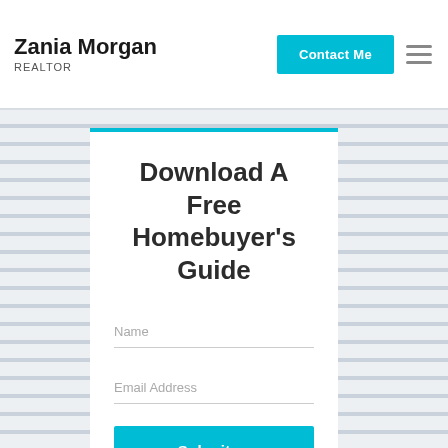Zania Morgan REALTOR
Download A Free Homebuyer's Guide
Name
Email Address
Submit →